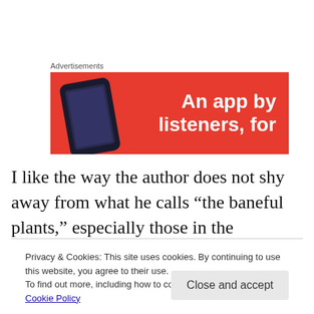[Figure (other): Advertisement banner with red background showing a smartphone and text 'An app by listeners, for']
I like the way the author does not shy away from what he calls “the baneful plants,” especially those in the Solanaceae (nightshade) family. He presents information on just what exactly makes them baneful, largely tropane
Privacy & Cookies: This site uses cookies. By continuing to use this website, you agree to their use.
To find out more, including how to control cookies, see here: Cookie Policy
messing with people” (p. 178). The chapter for each